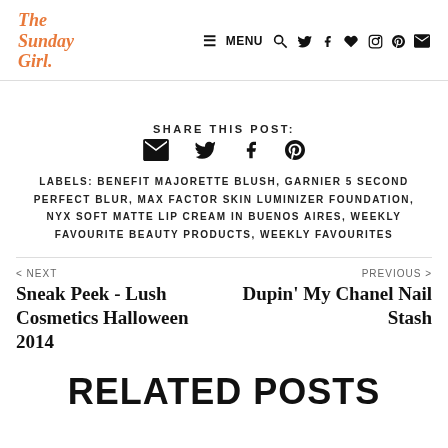The Sunday Girl. — MENU navigation icons
SHARE THIS POST:
[Figure (other): Social share icons: email, twitter, facebook, pinterest]
LABELS: BENEFIT MAJORETTE BLUSH, GARNIER 5 SECOND PERFECT BLUR, MAX FACTOR SKIN LUMINIZER FOUNDATION, NYX SOFT MATTE LIP CREAM IN BUENOS AIRES, WEEKLY FAVOURITE BEAUTY PRODUCTS, WEEKLY FAVOURITES
< NEXT
Sneak Peek - Lush Cosmetics Halloween 2014
PREVIOUS >
Dupin' My Chanel Nail Stash
RELATED POSTS